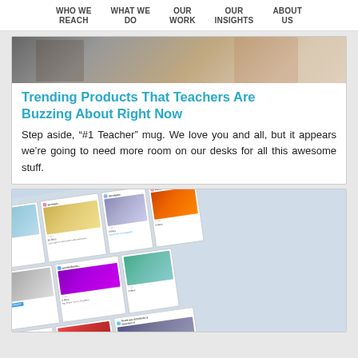WHO WE REACH | WHAT WE DO | OUR WORK | OUR INSIGHTS | ABOUT US
[Figure (photo): Photo of a teacher or person in a classroom setting, partially visible at top of card]
Trending Products That Teachers Are Buzzing About Right Now
Step aside, “#1 Teacher” mug. We love you and all, but it appears we’re going to need more room on our desks for all this awesome stuff.
[Figure (screenshot): Screenshot of an Instagram feed showing multiple posts from teachers, displayed at an angle, featuring photos of teachers with products]